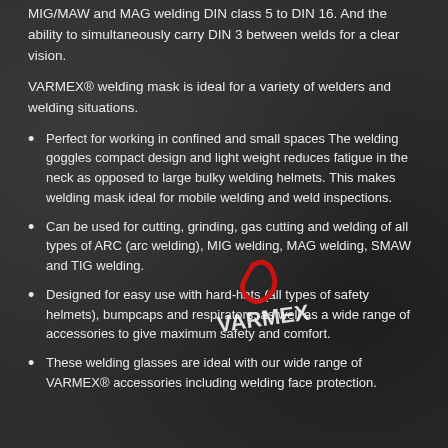MIG/MAW and MAG welding DIN class 5 to DIN 16, and the ability to simultaneously carry DIN 3 between welds for a clear vision.
VARMEX® welding mask is ideal for a variety of welders and welding situations.
Perfect for working in confined and small spaces The welding goggles compact design and light weight reduces fatigue in the neck as opposed to large bulky welding helmets. This makes welding mask ideal for mobile welding and weld inspections.
Can be used for cutting, grinding, gas cutting and welding of all types of ARC (arc welding), MIG welding, MAG welding, SMAW and TIG welding.
Designed for easy use with hard-hats (all types of safety helmets), bumpcaps and respirators, as well as a wide range of accessories to give maximum safety and comfort.
These welding glasses are ideal with our wide range of VARMEX® accessories including welding face protection.